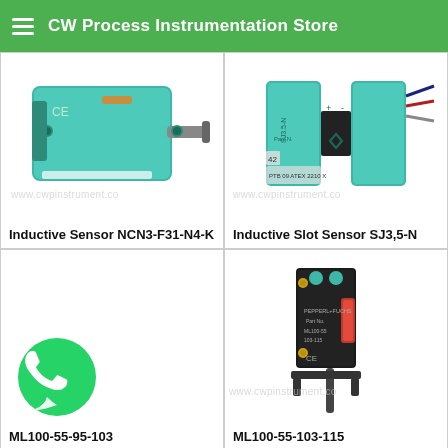CW Process Instrumentation Store
[Figure (photo): Inductive sensor NCN3-F31-N4-K, green rectangular body with cable]
Inductive Sensor NCN3-F31-N4-K
[Figure (photo): Inductive slot sensor SJ3,5-N, green block shape with wires]
Inductive Slot Sensor SJ3,5-N
[Figure (photo): ML100-55-95-103, empty product cell with WhatsApp icon overlay]
ML100-55-95-103
[Figure (photo): ML100-55-103-115, small black optical sensor with red indicator and cable]
ML100-55-103-115